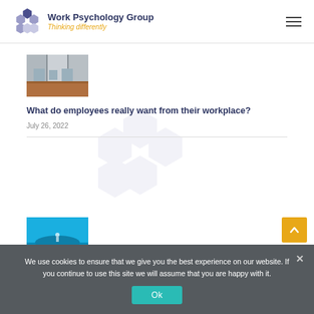Work Psychology Group — Thinking differently
[Figure (photo): Office interior with glass partitions and wooden floor]
What do employees really want from their workplace?
July 26, 2022
[Figure (photo): Teal sky with small figure]
We use cookies to ensure that we give you the best experience on our website. If you continue to use this site we will assume that you are happy with it.